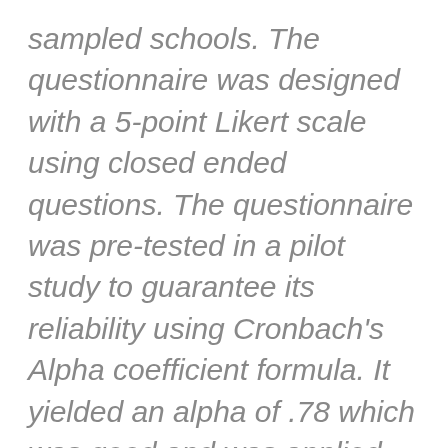sampled schools. The questionnaire was designed with a 5-point Likert scale using closed ended questions. The questionnaire was pre-tested in a pilot study to guarantee its reliability using Cronbach's Alpha coefficient formula. It yielded an alpha of .78 which was good and was applied for the study. Data was analyzed using descriptive and inferential statistics. Frequencies were used to analyze